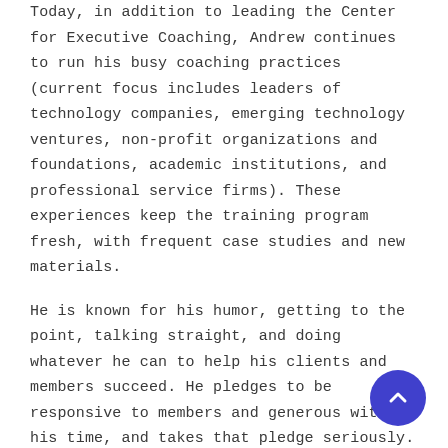Today, in addition to leading the Center for Executive Coaching, Andrew continues to run his busy coaching practices (current focus includes leaders of technology companies, emerging technology ventures, non-profit organizations and foundations, academic institutions, and professional service firms). These experiences keep the training program fresh, with frequent case studies and new materials.
He is known for his humor, getting to the point, talking straight, and doing whatever he can to help his clients and members succeed. He pledges to be responsive to members and generous with his time, and takes that pledge seriously.
Andrew plays tennis as often as he can, reads lots of detective novels, and enjoys life in Sarasota, Florida with his wife and three children.